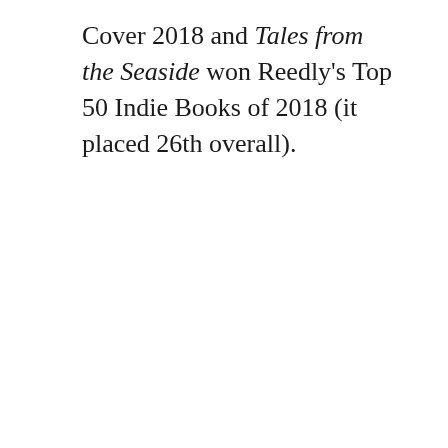Cover 2018 and Tales from the Seaside won Reedly's Top 50 Indie Books of 2018 (it placed 26th overall).